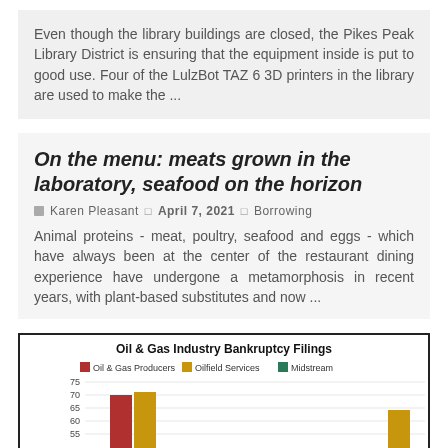Even though the library buildings are closed, the Pikes Peak Library District is ensuring that the equipment inside is put to good use. Four of the LulzBot TAZ 6 3D printers in the library are used to make the ...
On the menu: meats grown in the laboratory, seafood on the horizon
Karen Pleasant  April 7, 2021  Borrowing
Animal proteins - meat, poultry, seafood and eggs - which have always been at the center of the restaurant dining experience have undergone a metamorphosis in recent years, with plant-based substitutes and now ...
[Figure (grouped-bar-chart): Oil & Gas Industry Bankruptcy Filings]